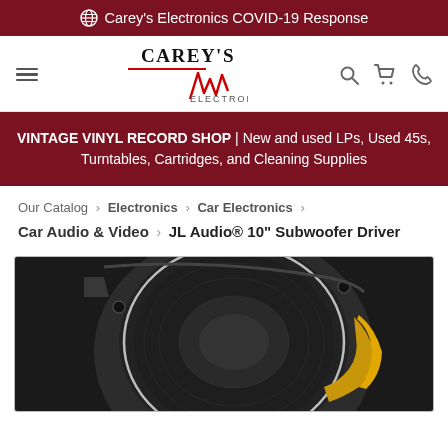🌐 Carey's Electronics COVID-19 Response
[Figure (logo): Carey's Electronics logo with stylized waveform in red and black text]
VINTAGE VINYL RECORD SHOP | New and used LPs, Used 45s, Turntables, Cartridges, and Cleaning Supplies
Our Catalog › Electronics › Car Electronics › Car Audio & Video › JL Audio® 10" Subwoofer Driver
[Figure (photo): JL Audio 10 inch subwoofer driver viewed from above at an angle, showing black mesh cone and yellow/orange surround details]